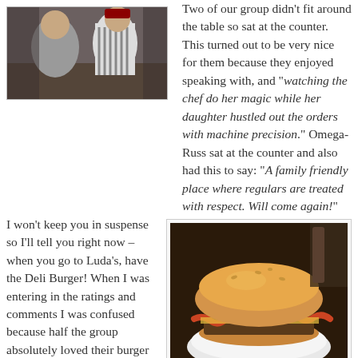[Figure (photo): Black and white photo of people sitting at a restaurant, two people visible near a table]
Two of our group didn't fit around the table so sat at the counter. This turned out to be very nice for them because they enjoyed speaking with, and “watching the chef do her magic while her daughter hustled out the orders with machine precision.” Omega-Russ sat at the counter and also had this to say: “A family friendly place where regulars are treated with respect. Will come again!”
I won’t keep you in suspense so I’ll tell you right now – when you go to Luda’s, have the Deli Burger! When I was entering in the ratings and comments I was confused because half the group absolutely loved their burger and gave it very high ratings and the other half weren’t as happy. The result was a fairly low average Burger Club rating for the Luda’s burger - which is misleading because the Deli Burger was great! The pork
[Figure (photo): Photo of a bacon burger on a white plate]
Bacon Burger